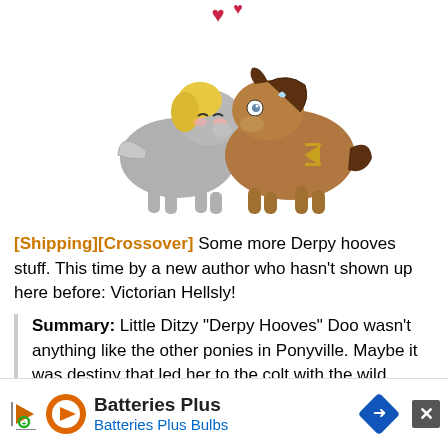[Figure (illustration): Two cartoon ponies (My Little Pony style) — a grey pegasus pony with blonde hair nuzzling a brown earth pony with dark brown mane. Red hearts above them. The grey pony appears happy (eyes closed, blushing) while the brown pony looks nervous/surprised. The brown pony has a hourglass cutie mark.]
[Shipping][Crossover] Some more Derpy hooves stuff. This time by a new author who hasn't shown up here before: Victorian Hellsly!
Summary: Little Ditzy "Derpy Hooves" Doo wasn't anything like the other ponies in Ponyville. Maybe it was destiny that led her to the colt with the wild brown ma...
[Figure (other): Advertisement banner for Batteries Plus / Batteries Plus Bulbs with orange and blue branding, play button icon, diamond road sign logo, and close button (X).]